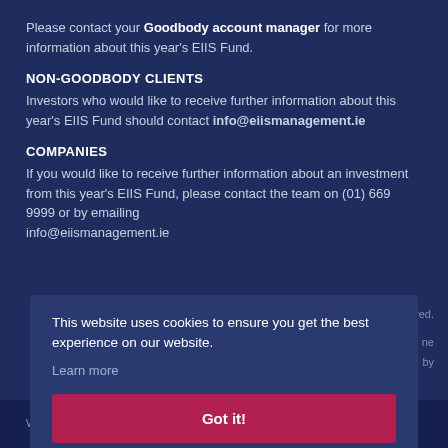Please contact your Goodbody account manager for more information about this year's EIIS Fund.
NON-GOODBODY CLIENTS
Investors who would like to receive further information about this year's EIIS Fund should contact info@eiismanagement.ie
COMPANIES
If you would like to receive further information about an investment from this year's EIIS Fund, please contact the team on (01) 669 9999 or by emailing info@eiismanagement.ie
This website uses cookies to ensure you get the best experience on our website.
Learn more
Got it!
rved.
ne
by
Website by JamJo